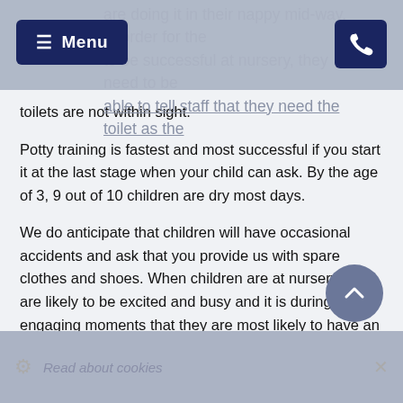Menu | [phone icon]
are doing it in their nappy mid-way. In order for the [child] to be successful at nursery, they need to be able to tell staff that they need the toilet as the toilets are not within sight.
Potty training is fastest and most successful if you start it at the last stage when your child can ask. By the age of 3, 9 out of 10 children are dry most days.
We do anticipate that children will have occasional accidents and ask that you provide us with spare clothes and shoes. When children are at nursery, they are likely to be excited and busy and it is during those engaging moments that they are most likely to have an accident. In their minds, why would you want to leave an exciting activity just to use the toilet!
If your child is asking to go to the toilet, and are making it known that they have a wet or soiled
Read about cookies